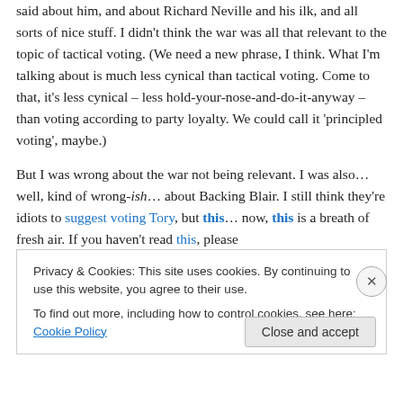said about him, and about Richard Neville and his ilk, and all sorts of nice stuff. I didn't think the war was all that relevant to the topic of tactical voting. (We need a new phrase, I think. What I'm talking about is much less cynical than tactical voting. Come to that, it's less cynical – less hold-your-nose-and-do-it-anyway – than voting according to party loyalty. We could call it 'principled voting', maybe.)
But I was wrong about the war not being relevant. I was also… well, kind of wrong-ish… about Backing Blair. I still think they're idiots to suggest voting Tory, but this… now, this is a breath of fresh air. If you haven't read this, please
Privacy & Cookies: This site uses cookies. By continuing to use this website, you agree to their use.
To find out more, including how to control cookies, see here: Cookie Policy